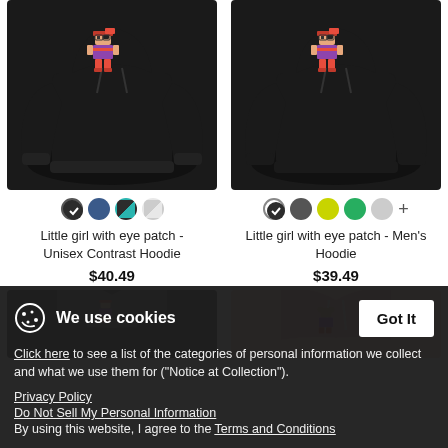[Figure (photo): Black hoodie with pixel art girl character with eye patch - Unisex Contrast Hoodie]
Little girl with eye patch - Unisex Contrast Hoodie
$40.49
[Figure (photo): Black hoodie with pixel art girl character with eye patch - Men's Hoodie]
Little girl with eye patch - Men's Hoodie
$39.49
[Figure (photo): Partially visible dark contrast hoodie at bottom left]
[Figure (photo): Partially visible pink hoodie at bottom right]
We use cookies
Click here to see a list of the categories of personal information we collect and what we use them for ("Notice at Collection").
Privacy Policy
Do Not Sell My Personal Information
By using this website, I agree to the Terms and Conditions